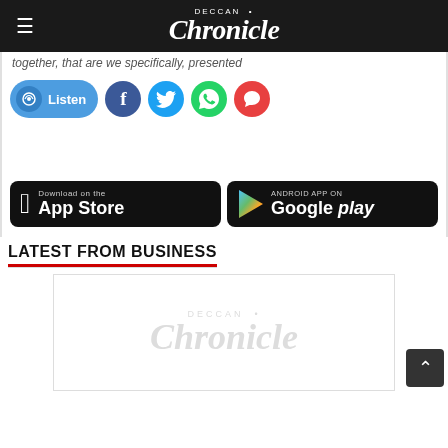Deccan Chronicle
...together, that are we specifically presented...
[Figure (screenshot): Social sharing buttons: Listen (audio), Facebook, Twitter, WhatsApp, Comments]
[Figure (screenshot): App store download buttons: Download on the App Store (Apple) and Android App on Google Play]
LATEST FROM BUSINESS
[Figure (logo): Deccan Chronicle placeholder logo watermark in light gray]